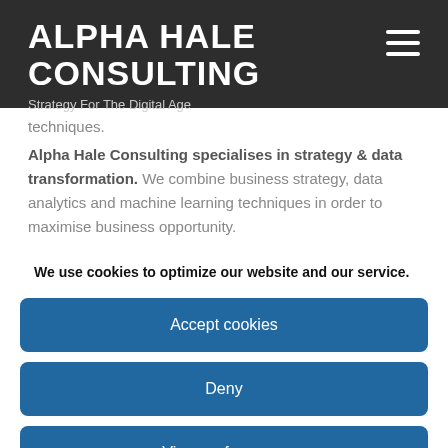ALPHA HALE CONSULTING
Strategy For The Digital Age
techniques.
Alpha Hale Consulting specialises in strategy & data transformation. We combine business strategy, data analytics and machine learning techniques in order to maximise business opportunity.
Alpha Hale Consulting is run by founder, CEO and former Financial
We use cookies to optimize our website and our service.
Accept cookies
Deny
View preferences
Cookie Policy   Privacy Policy